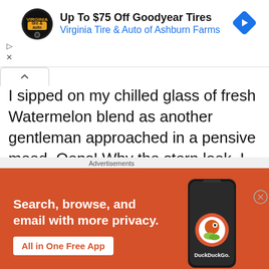[Figure (infographic): Advertisement banner: Virginia Tire & Auto logo, text 'Up To $75 Off Goodyear Tires' and 'Virginia Tire & Auto of Ashburn Farms', blue navigation arrow diamond icon on the right.]
I sipped on my chilled glass of fresh Watermelon blend as another gentleman approached in a pensive mood. Oops! Why the stern look, I asked myself.
The conversation between the two gentlemen explained both their moods. My 'konkonsa'
[Figure (infographic): DuckDuckGo advertisement banner on orange/red background: 'Search, browse, and email with more privacy. All in One Free App' with phone mockup showing DuckDuckGo app.]